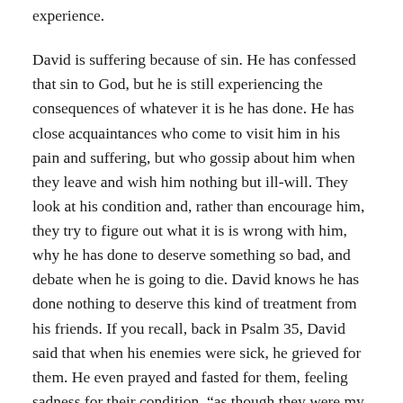experience.
David is suffering because of sin. He has confessed that sin to God, but he is still experiencing the consequences of whatever it is he has done. He has close acquaintances who come to visit him in his pain and suffering, but who gossip about him when they leave and wish him nothing but ill-will. They look at his condition and, rather than encourage him, they try to figure out what it is is wrong with him, why he has done to deserve something so bad, and debate when he is going to die. David knows he has done nothing to deserve this kind of treatment from his friends. If you recall, back in Psalm 35, David said that when his enemies were sick, he grieved for them. He even prayed and fasted for them, feeling sadness for their condition, “as though they were my friends or family” (Psalm 35:14